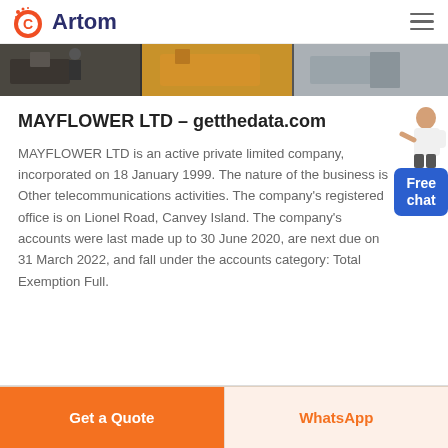Artom
[Figure (photo): Industrial/manufacturing banner image strip showing factory equipment and machinery]
MAYFLOWER LTD – getthedata.com
MAYFLOWER LTD is an active private limited company, incorporated on 18 January 1999. The nature of the business is Other telecommunications activities. The company's registered office is on Lionel Road, Canvey Island. The company's accounts were last made up to 30 June 2020, are next due on 31 March 2022, and fall under the accounts category: Total Exemption Full.